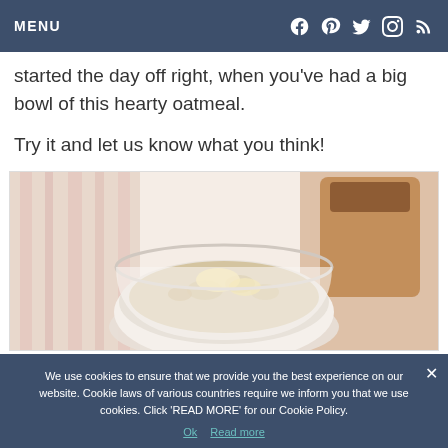MENU
started the day off right, when you've had a big bowl of this hearty oatmeal.
Try it and let us know what you think!
[Figure (photo): Photo of a bowl of oatmeal with butter/toppings, accompanied by pastries on a striped cloth background]
We use cookies to ensure that we provide you the best experience on our website. Cookie laws of various countries require we inform you that we use cookies. Click 'READ MORE' for our Cookie Policy.